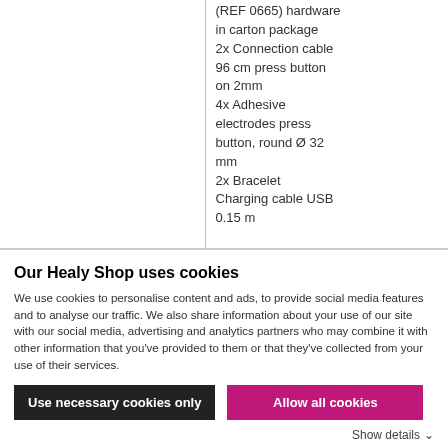(REF 0665) hardware in carton package
2x Connection cable 96 cm press button on 2mm
4x Adhesive electrodes press button, round Ø 32 mm
2x Bracelet
Charging cable USB 0.15 m
Our Healy Shop uses cookies
We use cookies to personalise content and ads, to provide social media features and to analyse our traffic. We also share information about your use of our site with our social media, advertising and analytics partners who may combine it with other information that you've provided to them or that they've collected from your use of their services.
Use necessary cookies only
Allow all cookies
Show details